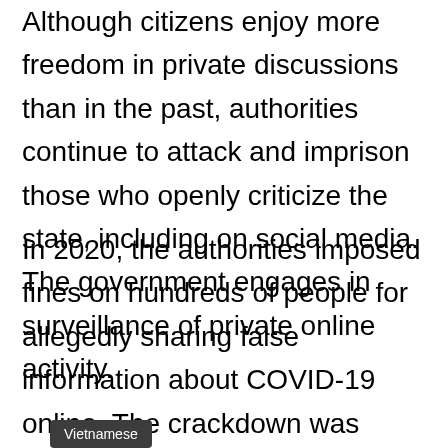Although citizens enjoy more freedom in private discussions than in the past, authorities continue to attack and imprison those who openly criticize the state, including on social media. The government engages in surveillance of private online activity.
In 2020, the authorities imposed fines on hundreds of people for allegedly sharing false information about COVID-19 online. The crackdown was carried out under existing laws as well as a new decree implemented in April that prescribed fines for the use of social media to disseminate content that reveals state secrets or is deemed false or misleading, slanderous, or harmful to moral or social valu...